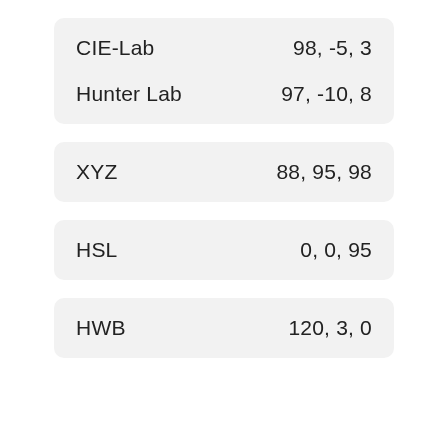| Color Space | Values |
| --- | --- |
| CIE-Lab | 98, -5, 3 |
| Hunter Lab | 97, -10, 8 |
| XYZ | 88, 95, 98 |
| HSL | 0, 0, 95 |
| HWB | 120, 3, 0 |